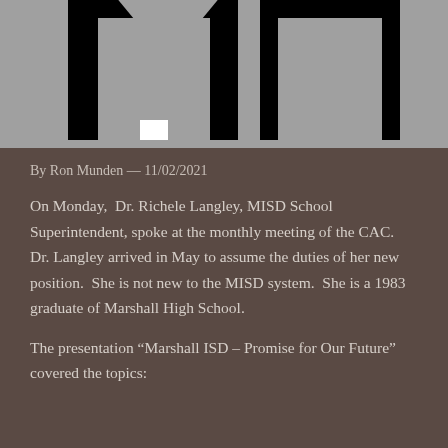[Figure (logo): MISD logo — stylized letters M on gray background with thick black outlines, partially cropped at top]
By Ron Munden — 11/02/2021
On Monday,  Dr. Richele Langley, MISD School Superintendent, spoke at the monthly meeting of the CAC.  Dr. Langley arrived in May to assume the duties of her new position.  She is not new to the MISD system.  She is a 1983 graduate of Marshall High School.
The presentation “Marshall ISD – Promise for Our Future” covered the topics: